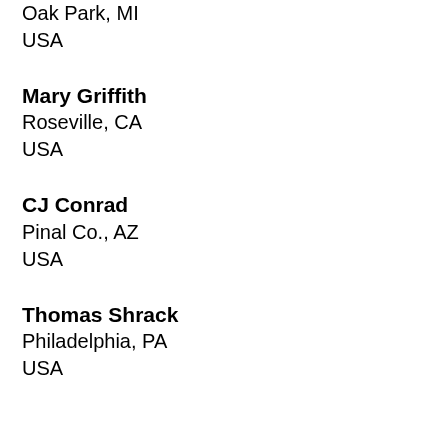Oak Park, MI
USA
Mary Griffith
Roseville, CA
USA
CJ Conrad
Pinal Co., AZ
USA
Thomas Shrack
Philadelphia, PA
USA